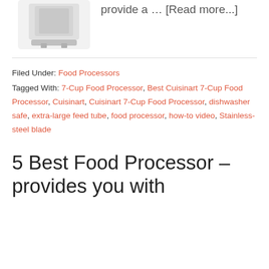[Figure (photo): Product image of a white food processor appliance on a light background]
provide a … [Read more...]
Filed Under: Food Processors
Tagged With: 7-Cup Food Processor, Best Cuisinart 7-Cup Food Processor, Cuisinart, Cuisinart 7-Cup Food Processor, dishwasher safe, extra-large feed tube, food processor, how-to video, Stainless-steel blade
5 Best Food Processor – provides you with